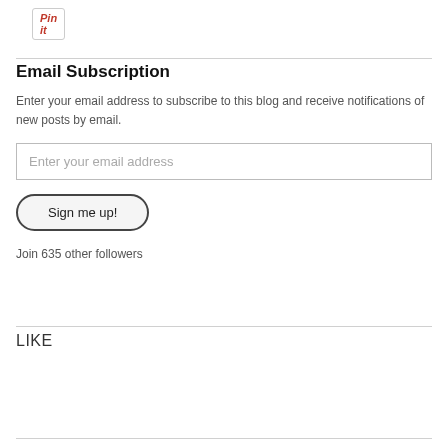[Figure (other): Pinterest 'Pin it' button]
Email Subscription
Enter your email address to subscribe to this blog and receive notifications of new posts by email.
Enter your email address
Sign me up!
Join 635 other followers
LIKE